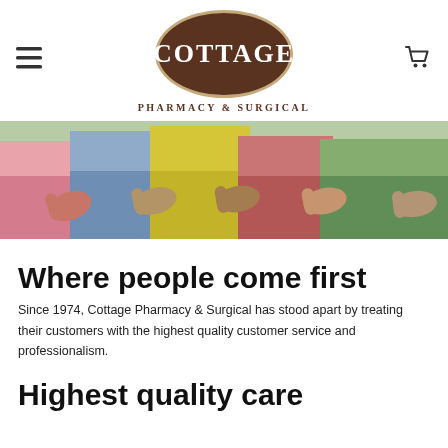Cottage Pharmacy & Surgical logo with hamburger menu and cart icon
[Figure (photo): Group of people giving thumbs up outdoors, wearing colorful clothing (pink, denim, yellow, floral, green)]
Where people come first
Since 1974, Cottage Pharmacy & Surgical has stood apart by treating their customers with the highest quality customer service and professionalism.
Highest quality care